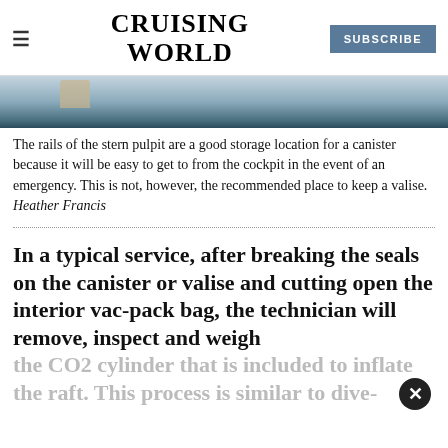CRUISING WORLD | SUBSCRIBE
[Figure (photo): Partial view of a sailboat stern pulpit near water, bottom portion of image visible as a strip]
The rails of the stern pulpit are a good storage location for a canister because it will be easy to get to from the cockpit in the event of an emergency. This is not, however, the recommended place to keep a valise. Heather Francis
In a typical service, after breaking the seals on the canister or valise and cutting open the interior vac-pack bag, the technician will remove, inspect and weigh the CO2 cylinder that is included to inflate the raft. This process is similar to dive-